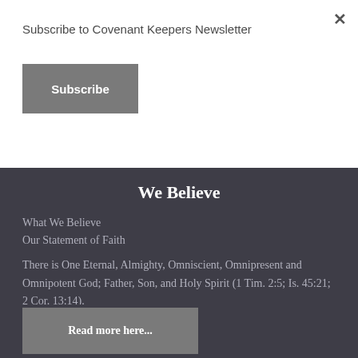Subscribe to Covenant Keepers Newsletter
Subscribe
We Believe
What We Believe
Our Statement of Faith
There is One Eternal, Almighty, Omniscient, Omnipresent and Omnipotent God; Father, Son, and Holy Spirit (1 Tim. 2:5; Is. 45:21; 2 Cor. 13:14).
Read more here...